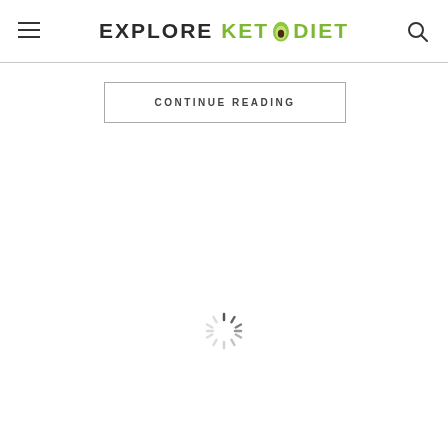EXPLORE KETO DIET
CONTINUE READING
[Figure (other): Loading spinner / activity indicator showing a circular arrangement of dark dashes/lines in a sunburst pattern]